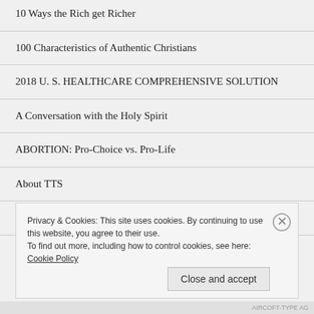10 Ways the Rich get Richer
100 Characteristics of Authentic Christians
2018 U. S. HEALTHCARE COMPREHENSIVE SOLUTION
A Conversation with the Holy Spirit
ABORTION: Pro-Choice vs. Pro-Life
About TTS
An EQUATION on The State of Man
Privacy & Cookies: This site uses cookies. By continuing to use this website, you agree to their use.
To find out more, including how to control cookies, see here: Cookie Policy
Close and accept